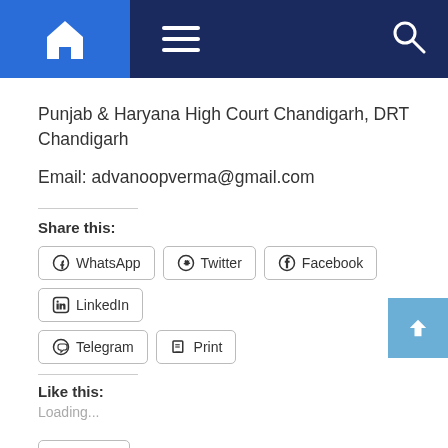[Figure (screenshot): Navigation bar with home icon, hamburger menu, and search icon on dark blue background]
Punjab & Haryana High Court Chandigarh, DRT Chandigarh
Email: advanoopverma@gmail.com
Share this:
WhatsApp  Twitter  Facebook  LinkedIn  Telegram  Print
Like this:
Loading...
Like
Be the first to like this.